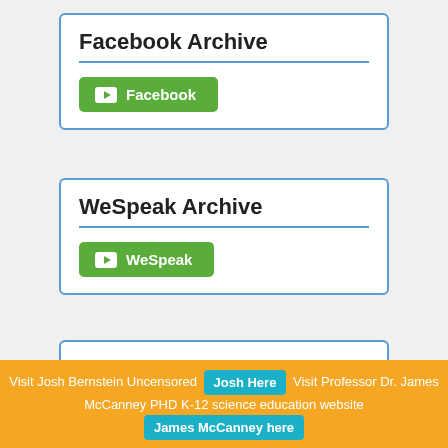Facebook Archive
[Figure (other): Green button with YouTube icon and label 'Facebook']
WeSpeak Archive
[Figure (other): Green button with YouTube icon and label 'WeSpeak']
Twitch.tv Live Stream
Visit Josh Bernstein Uncensored Josh Here Visit Professor Dr. James McCanney PHD K-12 science education website James McCanney here